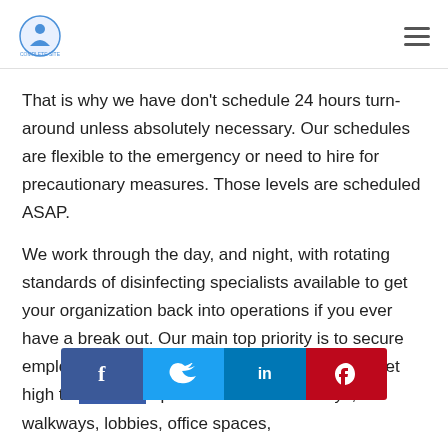[logo] [hamburger menu]
That is why we have don't schedule 24 hours turn-around unless absolutely necessary. Our schedules are flexible to the emergency or need to hire for precautionary measures. Those levels are scheduled ASAP.
We work through the day, and night, with rotating standards of disinfecting specialists available to get your organization back into operations if you ever have a break out. Our main top priority is to secure employees, clients and the basic public. We target high tra[ffic] h points like entrance-ways, walkways, lobbies, office spaces,